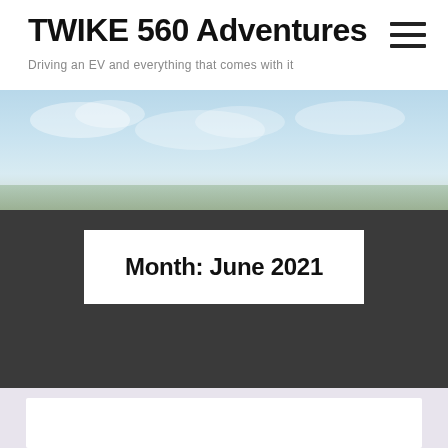TWIKE 560 Adventures
Driving an EV and everything that comes with it
[Figure (photo): Sky and outdoor landscape hero image, blue sky with light clouds]
Month: June 2021
[Figure (illustration): Colorful blog post thumbnail with stylized text, gradient background in blue and warm tones]